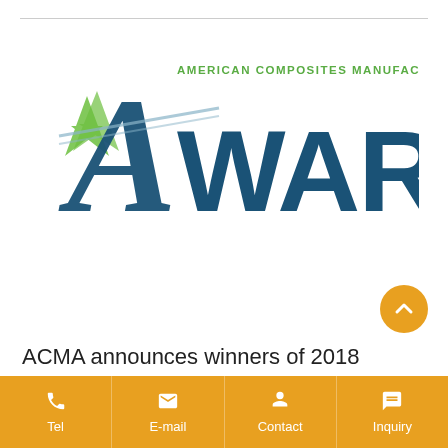[Figure (logo): ACMA Awards logo — American Composites Manufacturers Association AWARDS text with a green star and blue swoosh lettering]
ACMA announces winners of 2018
Tel  E-mail  Contact  Inquiry